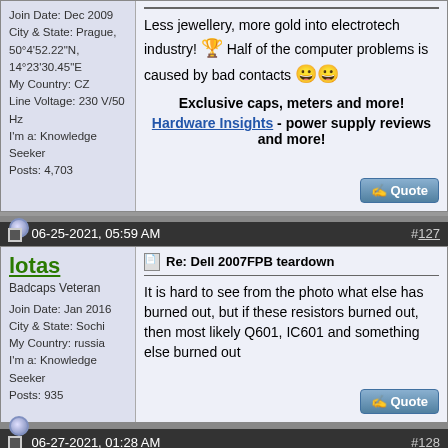Join Date: Dec 2009
City & State: Prague, 50°4'52.22"N, 14°23'30.45"E
My Country: CZ
Line Voltage: 230 V/50 Hz
I'm a: Knowledge Seeker
Posts: 4,703
Less jewellery, more gold into electrotech industry! Half of the computer problems is caused by bad contacts
Exclusive caps, meters and more!
Hardware Insights - power supply reviews and more!
06-25-2021, 05:59 AM  #127
lotas
Badcaps Veteran
Join Date: Jan 2016
City & State: Sochi
My Country: russia
I'm a: Knowledge Seeker
Posts: 935
Re: Dell 2007FPB teardown
It is hard to see from the photo what else has burned out, but if these resistors burned out, then most likely Q601, IC601 and something else burned out
06-27-2021, 01:28 AM  #128